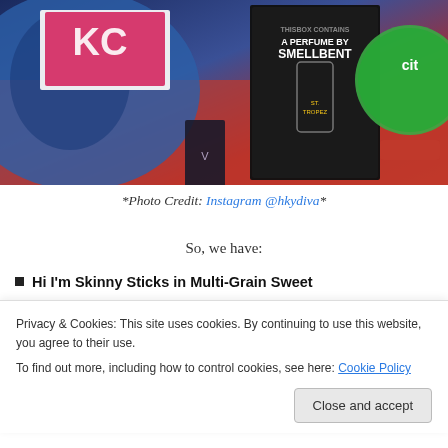[Figure (photo): Photo of beauty/subscription box products including KC perfume box, Smellbent perfume box labeled 'This box contains a perfume by Smellbent St. Tropez', and other beauty products on a pink/red surface]
*Photo Credit: Instagram @hkydiva*
So, we have:
Hi I'm Skinny Sticks in Multi-Grain Sweet
Privacy & Cookies: This site uses cookies. By continuing to use this website, you agree to their use.
To find out more, including how to control cookies, see here: Cookie Policy
Smellbent Perfume Spray in St. Tropez (est. $45)